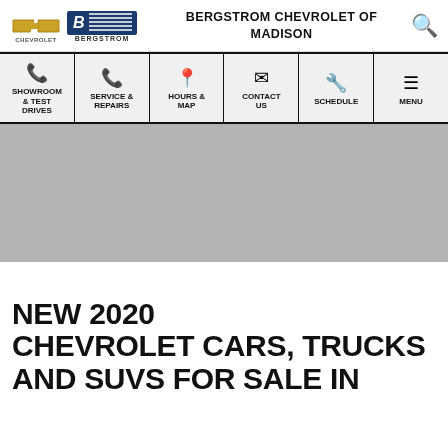BERGSTROM CHEVROLET OF MADISON
[Figure (screenshot): Navigation menu with icons for SHOWROOM & TEST DRIVES, SERVICE & REPAIRS, HOURS & MAP, CONTACT US, SCHEDULE, and MENU]
[Figure (photo): Gray hero image placeholder area]
NEW 2020 CHEVROLET CARS, TRUCKS AND SUVS FOR SALE IN